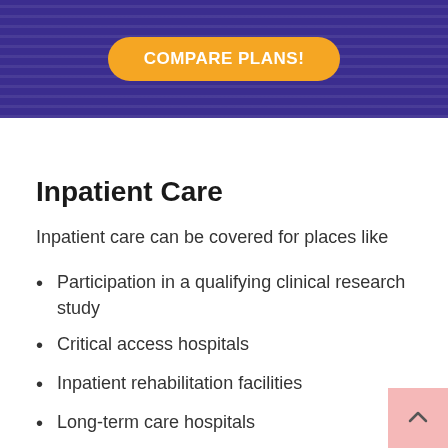[Figure (other): Dark purple banner with diagonal stripe texture and an orange rounded button labeled COMPARE PLANS!]
Inpatient Care
Inpatient care can be covered for places like
Participation in a qualifying clinical research study
Critical access hospitals
Inpatient rehabilitation facilities
Long-term care hospitals